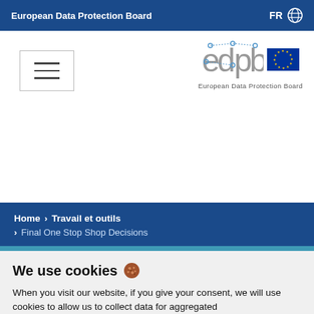European Data Protection Board  FR 🌐
[Figure (other): Hamburger menu icon button with three horizontal lines]
[Figure (logo): EDPB European Data Protection Board logo with EU flag]
Home > Travail et outils > Final One Stop Shop Decisions
We use cookies 🍪
When you visit our website, if you give your consent, we will use cookies to allow us to collect data for aggregated